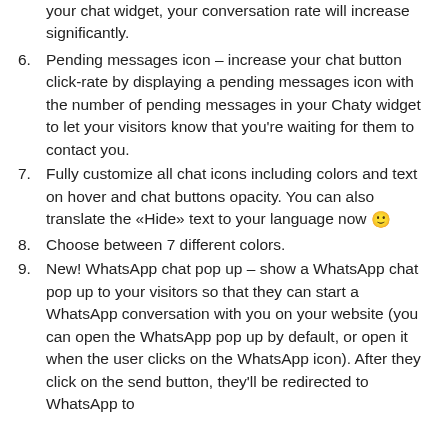your chat widget, your conversation rate will increase significantly.
Pending messages icon – increase your chat button click-rate by displaying a pending messages icon with the number of pending messages in your Chaty widget to let your visitors know that you're waiting for them to contact you.
Fully customize all chat icons including colors and text on hover and chat buttons opacity. You can also translate the «Hide» text to your language now 🙂
Choose between 7 different colors.
New! WhatsApp chat pop up – show a WhatsApp chat pop up to your visitors so that they can start a WhatsApp conversation with you on your website (you can open the WhatsApp pop up by default, or open it when the user clicks on the WhatsApp icon). After they click on the send button, they'll be redirected to WhatsApp to